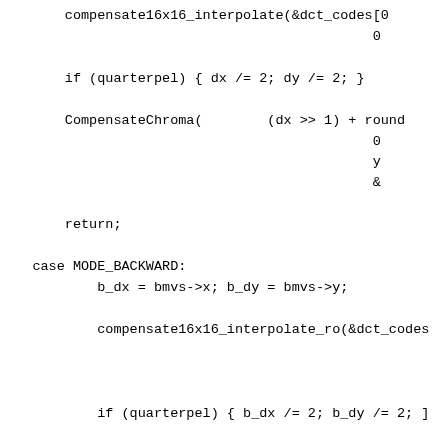compensate16x16_interpolate(&dct_codes[0
                                         0

        if (quarterpel) { dx /= 2; dy /= 2; }

        CompensateChroma(        (dx >> 1) + round
                                              0
                                              y
                                              &

        return;

    case MODE_BACKWARD:
            b_dx = bmvs->x; b_dy = bmvs->y;

            compensate16x16_interpolate_ro(&dct_codes



            if (quarterpel) { b_dx /= 2; b_dy /= 2; ]

            CompensateChroma(       (b_dx >> 1) + rou
                                                  0
                                                  y
                                                  &

        return;

    case MODE_INTERPOLATE: /*  could  use DIRECT, but